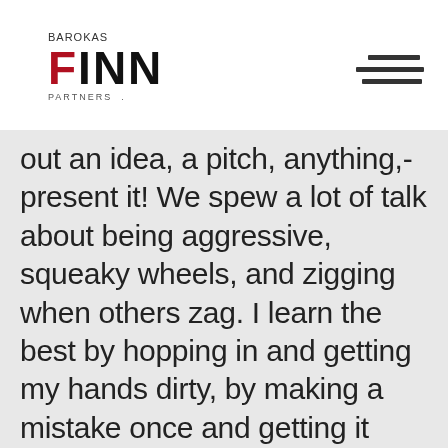BAROKAS FINN PARTNERS
out an idea, a pitch, anything,- present it! We spew a lot of talk about being aggressive, squeaky wheels, and zigging when others zag. I learn the best by hopping in and getting my hands dirty, by making a mistake once and getting it right the second time, and by being engaged with the material my clients are creating. Barokas Communications is great at all